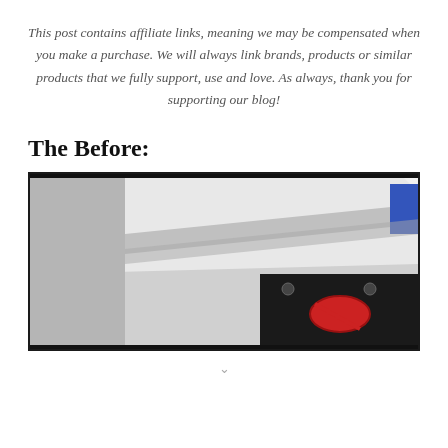This post contains affiliate links, meaning we may be compensated when you make a purchase. We will always link brands, products or similar products that we fully support, use and love. As always, thank you for supporting our blog!
The Before:
[Figure (photo): A close-up photo of a shelf or countertop edge against a textured grey wall, with a dark appliance or cabinet visible in the lower right corner showing red and blue decorative elements.]